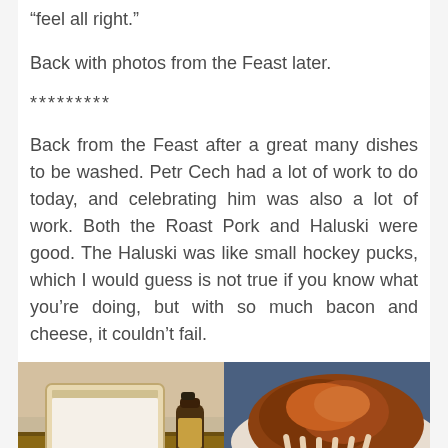“feel all right.”
Back with photos from the Feast later.
*********
Back from the Feast after a great many dishes to be washed. Petr Cech had a lot of work to do today, and celebrating him was also a lot of work. Both the Roast Pork and Haluski were good. The Haluski was like small hockey pucks, which I would guess is not true if you know what you’re doing, but with so much bacon and cheese, it couldn’t fail.
[Figure (photo): Two side-by-side food/event photos: left shows a tablet and a dark bottle on a table; right shows a roasted pork dish on a plate with garnish.]